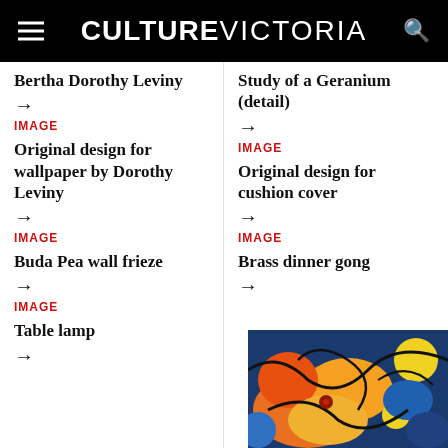CULTURE VICTORIA
Bertha Dorothy Leviny →
IMAGE
Original design for wallpaper by Dorothy Leviny →
IMAGE
Buda Pea wall frieze →
IMAGE
Table lamp →
Study of a Geranium (detail) →
IMAGE
Original design for cushion cover →
IMAGE
Brass dinner gong →
[Figure (photo): Colorful stained glass or mosaic style artwork with orange, yellow, blue and black organic shapes]